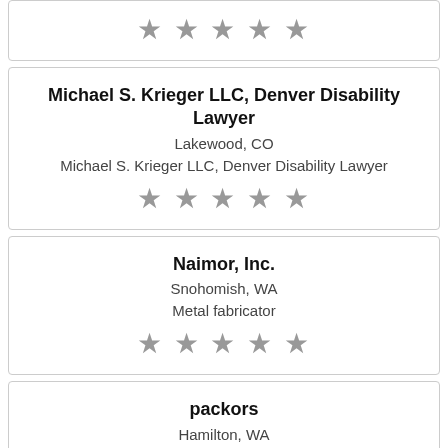[Figure (other): Star rating row (5 stars, grey, partial card top)]
Michael S. Krieger LLC, Denver Disability Lawyer
Lakewood, CO
Michael S. Krieger LLC, Denver Disability Lawyer
[Figure (other): Star rating row (5 stars, grey)]
Naimor, Inc.
Snohomish, WA
Metal fabricator
[Figure (other): Star rating row (5 stars, grey)]
packors
Hamilton, WA
Packors, an Award-Winning brand for providing solutions related to custom packaging